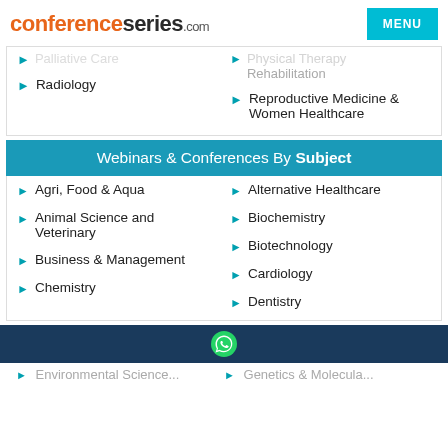conferenceseries.com
Palliative Care (partially visible)
Physical Therapy Rehabilitation (partially visible)
Radiology
Reproductive Medicine & Women Healthcare
Webinars & Conferences By Subject
Agri, Food & Aqua
Alternative Healthcare
Animal Science and Veterinary
Biochemistry
Biotechnology
Business & Management
Cardiology
Chemistry
Dentistry